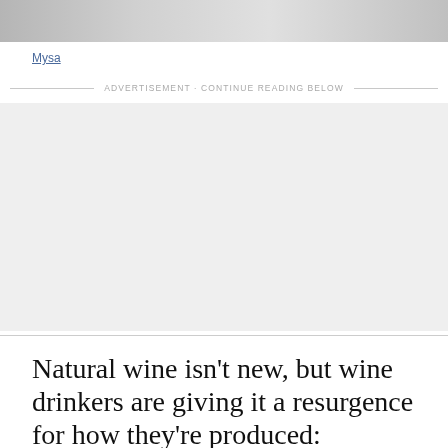[Figure (photo): Partial view of wine bottles, cropped at top of page]
Mysa
ADVERTISEMENT · CONTINUE READING BELOW
[Figure (other): Advertisement placeholder block, light gray background]
Natural wine isn't new, but wine drinkers are giving it a resurgence for how they're produced: